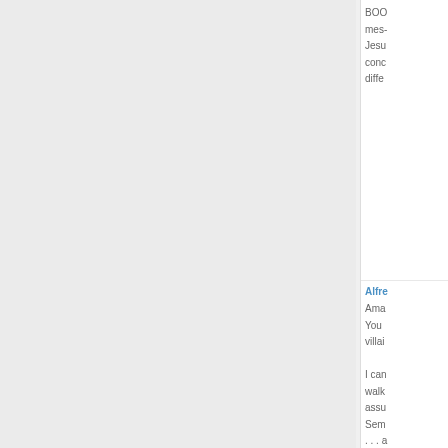BOO mes- Jesu conc diffe
[Figure (photo): A smiling middle-aged man with glasses and a red shirt, photo thumbnail used as avatar/profile picture]
back to top
Alfred
Ama You villain
I can walk assu Sem . . . an stran the s is lik "sch that